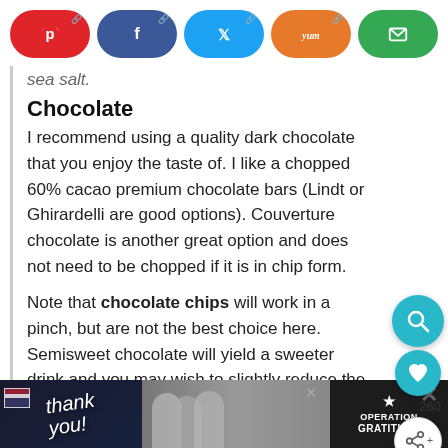[Figure (infographic): Social share buttons bar: Pinterest (red), Facebook (dark blue), Twitter (blue), Yummly (orange), Email (green), all pill/rounded-rectangle shaped with white icons]
sea salt.
Chocolate
I recommend using a quality dark chocolate that you enjoy the taste of. I like a chopped 60% cacao premium chocolate bars (Lindt or Ghirardelli are good options). Couverture chocolate is another great option and does not need to be chopped if it is in chip form.
Note that chocolate chips will work in a pinch, but are not the best choice here. Semisweet chocolate will yield a sweeter drink and you may wish to slightly reduce the sugar.
Hot Chocolate Mugs
[Figure (infographic): Floating action buttons: teal search icon circle, teal heart icon circle with count 260, share icon circle]
[Figure (infographic): Ad banner at bottom: dark background, Thank you text with American flag imagery, Operation Gratitude logo, close button X]